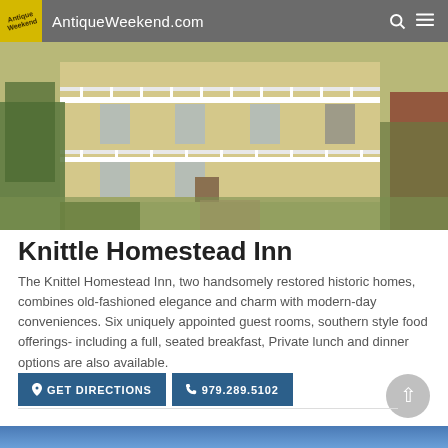AntiqueWeekend.com
[Figure (photo): Exterior photo of the Knittle Homestead Inn, a two-story historic home with white railings and wrap-around porches, surrounded by trees and flowers.]
Knittle Homestead Inn
The Knittel Homestead Inn, two handsomely restored historic homes, combines old-fashioned elegance and charm with modern-day conveniences. Six uniquely appointed guest rooms, southern style food offerings- including a full, seated breakfast, Private lunch and dinner options are also available.
GET DIRECTIONS   979.289.5102